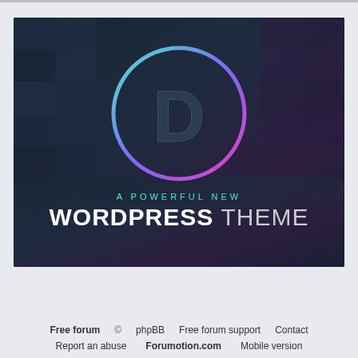[Figure (illustration): Divi WordPress theme advertisement banner. Dark background with pixelated texture. Large circular ring with teal-to-purple gradient outline containing a 3D letter D. Text below reads 'A POWERFUL NEW' in teal and 'WORDPRESS THEME' in white bold letters.]
Free forum  ©  phpBB  Free forum support  Contact  Report an abuse  Forumotion.com  Mobile version